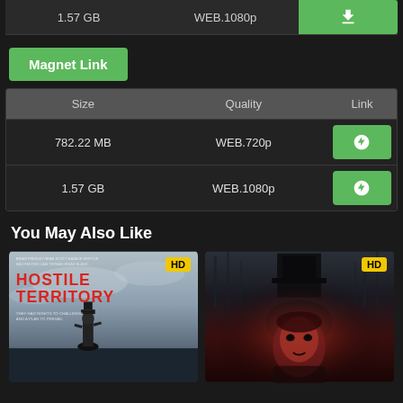| Size | Quality | Link |
| --- | --- | --- |
| 1.57 GB | WEB.1080p | [download button] |
Magnet Link
| Size | Quality | Link |
| --- | --- | --- |
| 782.22 MB | WEB.720p | [magnet button] |
| 1.57 GB | WEB.1080p | [magnet button] |
You May Also Like
[Figure (photo): Movie poster for Hostile Territory with red title text, cowboy figure, cloudy sky background, HD badge]
[Figure (photo): Horror movie poster with woman's face in red light and dark shadowy figure with top hat, HD badge]